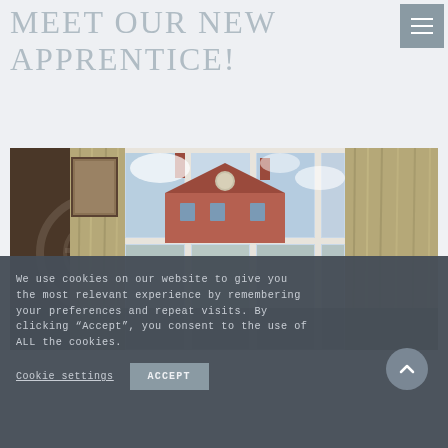MEET OUR NEW APPRENTICE!
[Figure (photo): Young person looking out of a large multi-pane window with olive/tan curtains, looking toward a red brick building with a clock tower visible outside]
We use cookies on our website to give you the most relevant experience by remembering your preferences and repeat visits. By clicking “Accept”, you consent to the use of ALL the cookies.
Cookie settings
ACCEPT